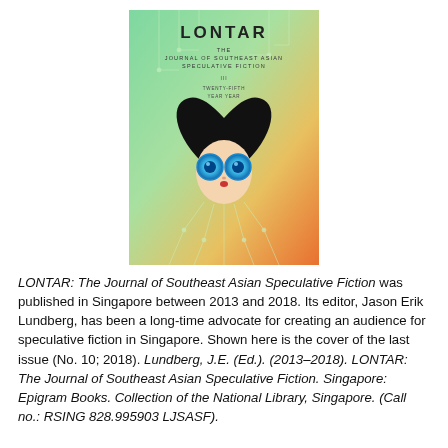[Figure (illustration): Book cover of LONTAR: The Journal of Southeast Asian Speculative Fiction. Green-to-orange gradient background with circuit-line motifs. A stylized figure with a heart-shaped black hairstyle, large blue glowing eyes, and small red lips is centered on the cover. Text at top reads 'LONTAR' and subtitle text below.]
LONTAR: The Journal of Southeast Asian Speculative Fiction was published in Singapore between 2013 and 2018. Its editor, Jason Erik Lundberg, has been a long-time advocate for creating an audience for speculative fiction in Singapore. Shown here is the cover of the last issue (No. 10; 2018). Lundberg, J.E. (Ed.). (2013–2018). LONTAR: The Journal of Southeast Asian Speculative Fiction. Singapore: Epigram Books. Collection of the National Library, Singapore. (Call no.: RSING 828.995903 LJSASF).